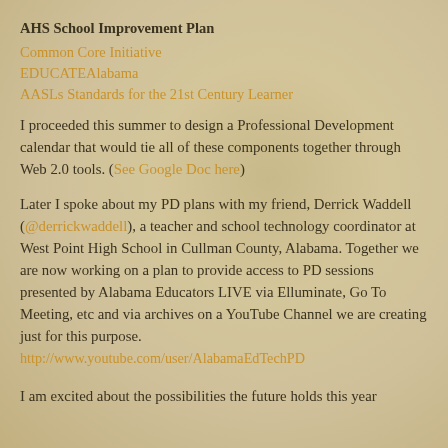AHS School Improvement Plan
Common Core Initiative
EDUCATEAlabama
AASLs Standards for the 21st Century Learner
I proceeded this summer to design a Professional Development calendar that would tie all of these components together through Web 2.0 tools. (See Google Doc here)
Later I spoke about my PD plans with my friend, Derrick Waddell (@derrickwaddell), a teacher and school technology coordinator at West Point High School in Cullman County, Alabama. Together we are now working on a plan to provide access to PD sessions presented by Alabama Educators LIVE via Elluminate, Go To Meeting, etc and via archives on a YouTube Channel we are creating just for this purpose. http://www.youtube.com/user/AlabamaEdTechPD
I am excited about the possibilities the future holds this year